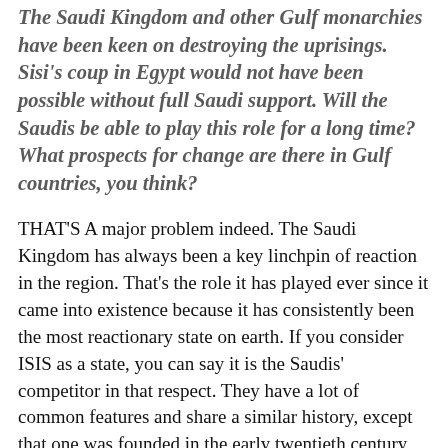The Saudi Kingdom and other Gulf monarchies have been keen on destroying the uprisings. Sisi's coup in Egypt would not have been possible without full Saudi support. Will the Saudis be able to play this role for a long time? What prospects for change are there in Gulf countries, you think?
THAT'S A major problem indeed. The Saudi Kingdom has always been a key linchpin of reaction in the region. That's the role it has played ever since it came into existence because it has consistently been the most reactionary state on earth. If you consider ISIS as a state, you can say it is the Saudis' competitor in that respect. They have a lot of common features and share a similar history, except that one was founded in the early twentieth century and the other one century later with very different means.
The Saudi Kingdom is a major reactionary stronghold in the region, but its ability to play a direct military role is more in its direct environment, in the Gulf. It